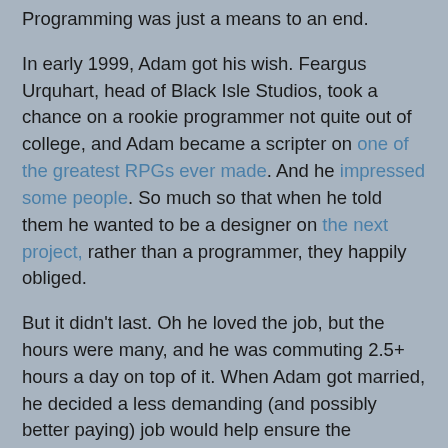Programming was just a means to an end.
In early 1999, Adam got his wish. Feargus Urquhart, head of Black Isle Studios, took a chance on a rookie programmer not quite out of college, and Adam became a scripter on one of the greatest RPGs ever made. And he impressed some people. So much so that when he told them he wanted to be a designer on the next project, rather than a programmer, they happily obliged.
But it didn't last. Oh he loved the job, but the hours were many, and he was commuting 2.5+ hours a day on top of it. When Adam got married, he decided a less demanding (and possibly better paying) job would help ensure the longevity of his new family.
And then he went crazy and left it all for Thailand.
It was all good, though. He'd found a new creative outlet in his novels, and being a full-time dad actually gave him opportunity to write. Of course he missed game design, just like he missed steak houses and the ocean; it was just one